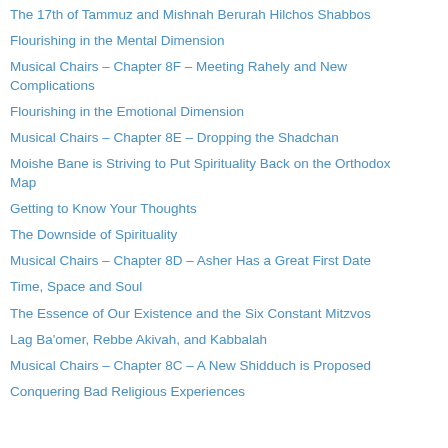The 17th of Tammuz and Mishnah Berurah Hilchos Shabbos
Flourishing in the Mental Dimension
Musical Chairs – Chapter 8F – Meeting Rahely and New Complications
Flourishing in the Emotional Dimension
Musical Chairs – Chapter 8E – Dropping the Shadchan
Moishe Bane is Striving to Put Spirituality Back on the Orthodox Map
Getting to Know Your Thoughts
The Downside of Spirituality
Musical Chairs – Chapter 8D – Asher Has a Great First Date
Time, Space and Soul
The Essence of Our Existence and the Six Constant Mitzvos
Lag Ba'omer, Rebbe Akivah, and Kabbalah
Musical Chairs – Chapter 8C – A New Shidduch is Proposed
Conquering Bad Religious Experiences